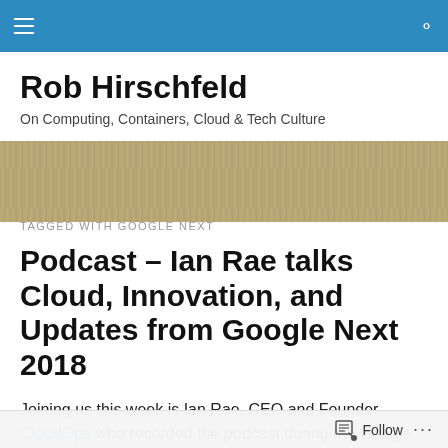Rob Hirschfeld blog navigation bar
Rob Hirschfeld
On Computing, Containers, Cloud & Tech Culture
TAGGED WITH GOOGLE NEXT
Podcast – Ian Rae talks Cloud, Innovation, and Updates from Google Next 2018
Joining us this week is Ian Rae, CEO and Founder CloudOps who recorded the podcast during the Google
Follow